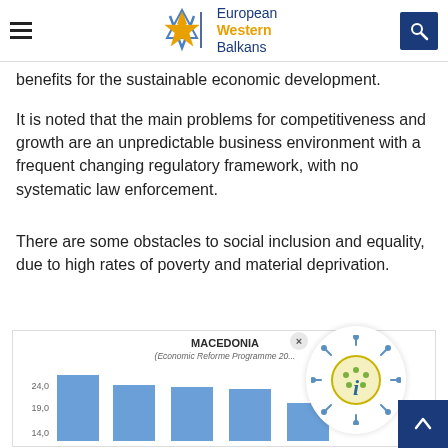European Western Balkans
benefits for the sustainable economic development.
It is noted that the main problems for competitiveness and growth are an unpredictable business environment with a frequent changing regulatory framework, with no systematic law enforcement.
There are some obstacles to social inclusion and equality, due to high rates of poverty and material deprivation.
[Figure (bar-chart): Bar chart for Macedonia Economic Reforme Programme with y-axis labels 14.0, 19.0, 24.0 visible, bars shown in blue]